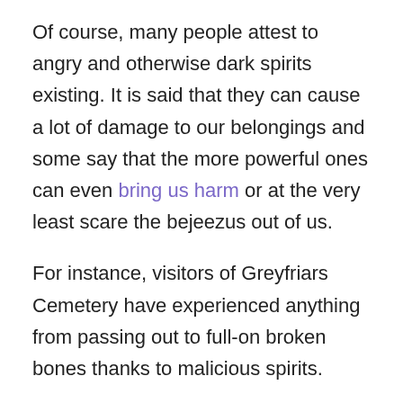Of course, many people attest to angry and otherwise dark spirits existing. It is said that they can cause a lot of damage to our belongings and some say that the more powerful ones can even bring us harm or at the very least scare the bejeezus out of us.
For instance, visitors of Greyfriars Cemetery have experienced anything from passing out to full-on broken bones thanks to malicious spirits.
Another scary occurrence involved a young family who had stuffed animals thrown at them. Also, the